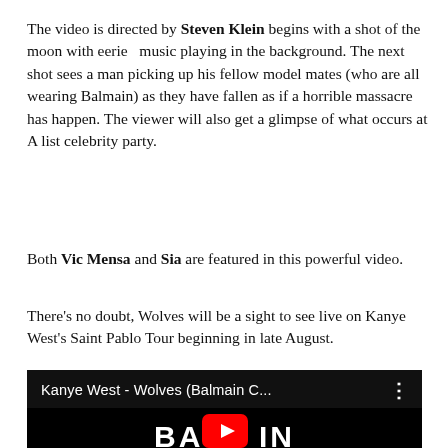The video is directed by Steven Klein begins with a shot of the moon with eerie  music playing in the background. The next shot sees a man picking up his fellow model mates (who are all wearing Balmain) as they have fallen as if a horrible massacre has happen. The viewer will also get a glimpse of what occurs at A list celebrity party.
Both Vic Mensa and Sia are featured in this powerful video.
There's no doubt, Wolves will be a sight to see live on Kanye West's Saint Pablo Tour beginning in late August.
Check out the video below
[Figure (screenshot): YouTube video embed showing 'Kanye West - Wolves (Balmain C...' with a black background and partial BALMAIN text with YouTube play button logo overlay]